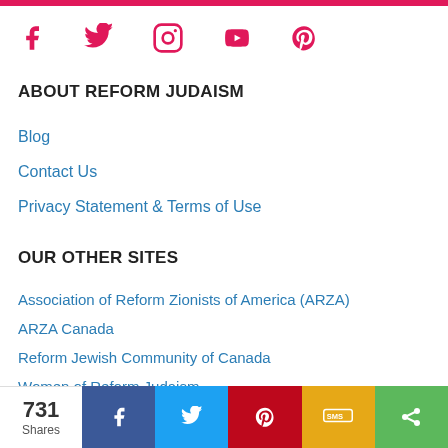[Figure (other): Social media icons: Facebook, Twitter, Instagram, YouTube, Pinterest in pink/magenta color]
ABOUT REFORM JUDAISM
Blog
Contact Us
Privacy Statement & Terms of Use
OUR OTHER SITES
Association of Reform Zionists of America (ARZA)
ARZA Canada
Reform Jewish Community of Canada
Women of Reform Judaism
[Figure (other): Share bar at the bottom showing 731 Shares with Facebook, Twitter, Pinterest, SMS, and more sharing buttons]